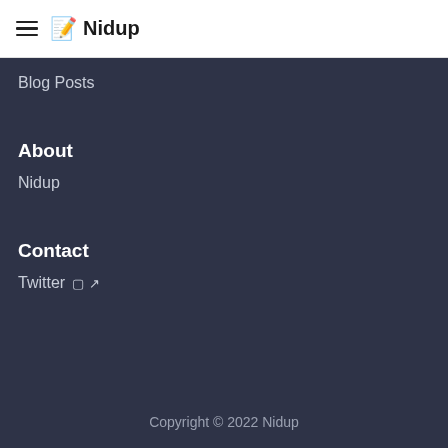Nidup
Blog Posts
About
Nidup
Contact
Twitter 🔗↗
Copyright © 2022 Nidup